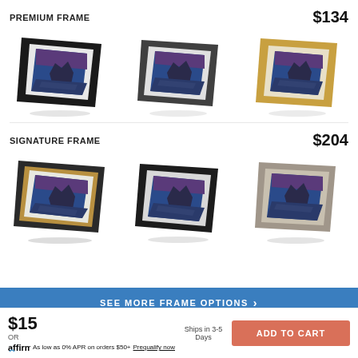PREMIUM FRAME
$134
[Figure (photo): Three framed prints showing Mont Saint-Michel at dusk/sunset — black frame, dark grey frame, and gold frame — Premium Frame options]
SIGNATURE FRAME
$204
[Figure (photo): Three framed prints showing Mont Saint-Michel at dusk/sunset — dark frame with gold inner, black frame, and champagne/silver frame — Signature Frame options]
SEE MORE FRAME OPTIONS
$15
Ships in 3-5 Days
OR
affirm  As low as 0% APR on orders $50+  Prequalify now
ADD TO CART